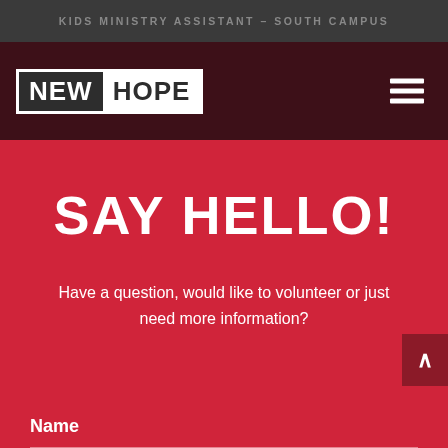KIDS MINISTRY ASSISTANT – SOUTH CAMPUS
[Figure (logo): New Hope church logo with NEW in white text on dark background and HOPE in dark text on white background]
SAY HELLO!
Have a question, would like to volunteer or just need more information?
Name